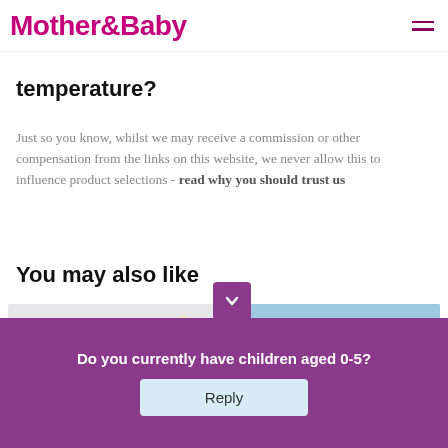Mother&Baby
temperature?
Just so you know, whilst we may receive a commission or other compensation from the links on this website, we never allow this to influence product selections - read why you should trust us
You may also like
[Figure (photo): Baby sitting in a white bathtub with colorful rubber toys]
[Figure (photo): Blue bath bomb dissolving in water creating blue swirls]
Baby ba... is the B... Bathwa...
...bs for ...ime
Do you currently have children aged 0-5?
Reply